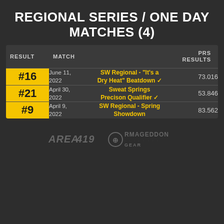REGIONAL SERIES / ONE DAY MATCHES (4)
| RESULT | MATCH |  | PRS RESULTS |
| --- | --- | --- | --- |
| #16 | June 11, 2022 | SW Regional - "It's a Dry Heat" Beatdown ✓ | 73.016 |
| #21 | April 30, 2022 | Sweat Springs Precison Qualifier ✓ | 53.846 |
| #9 | April 9, 2022 | SW Regional - Spring Showdown | 83.562 |
[Figure (logo): Area 419 and Armageddon Gear sponsor logos]